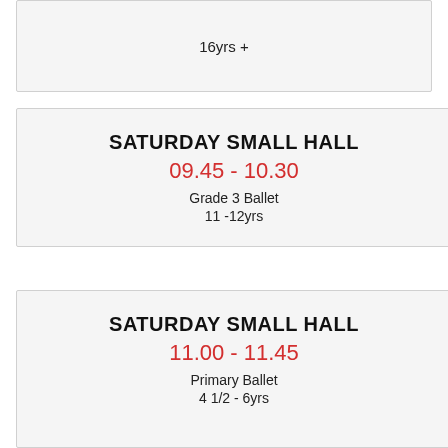16yrs +
SATURDAY SMALL HALL
09.45 - 10.30
Grade 3 Ballet
11 -12yrs
SATURDAY SMALL HALL
11.00 - 11.45
Primary Ballet
4 1/2 - 6yrs